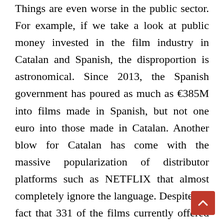Things are even worse in the public sector. For example, if we take a look at public money invested in the film industry in Catalan and Spanish, the disproportion is astronomical. Since 2013, the Spanish government has poured as much as €385M into films made in Spanish, but not one euro into those made in Catalan. Another blow for Catalan has come with the massive popularization of distributor platforms such as NETFLIX that almost completely ignore the language. Despite the fact that 331 of the films currently offered by Netflix have dubbed versions in Catalan, none of these versions are available on the platform. This comes in open defiance to a Catalan law that obliges distributor companies to guarantee that all films screened in Catalan are made available under the same conditions other languages are offered in (Spanish, English, French